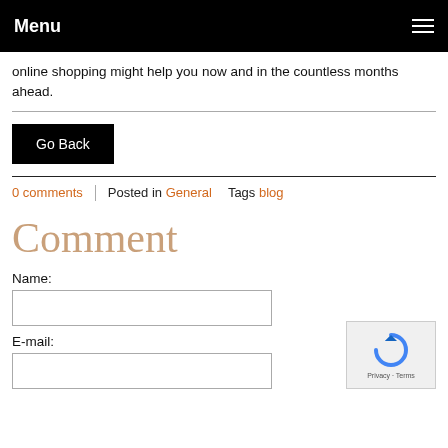Menu
online shopping might help you now and in the countless months ahead.
Go Back
0 comments | Posted in General   Tags blog
Comment
Name:
E-mail:
[Figure (other): reCAPTCHA widget showing a circular arrow icon with Privacy and Terms text]